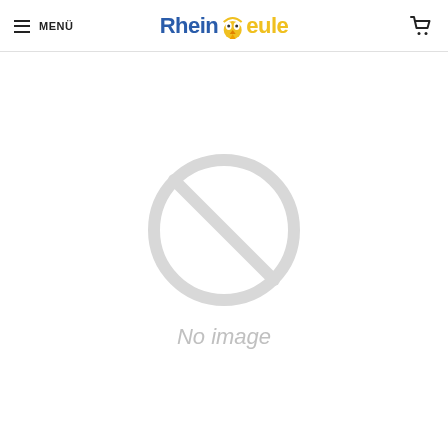≡ MENÜ  RheinEule  🛒
[Figure (illustration): A circular no-image placeholder icon: a circle with a diagonal line through it, light gray, with the italic text 'No image' below it.]